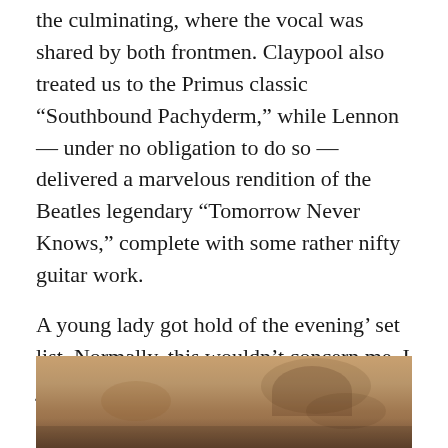the culminating, where the vocal was shared by both frontmen. Claypool also treated us to the Primus classic “Southbound Pachyderm,” while Lennon — under no obligation to do so — delivered a marvelous rendition of the Beatles legendary “Tomorrow Never Knows,” complete with some rather nifty guitar work.
A young lady got hold of the evening’ set list. Normally, this wouldn’t concern me. I just wanted to remember what songs were played. But even said list was artistic. I couldn’t not share it.
[Figure (photo): Partial photo showing what appears to be hands or objects on a wooden surface, cropped at the bottom of the page]